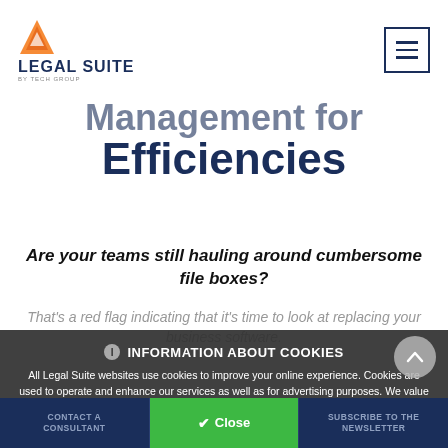LEGAL SUITE
Management for Efficiencies
Are your teams still hauling around cumbersome file boxes?
That's a red flag indicating that it's time to look at replacing your business software.
INFORMATION ABOUT COOKIES
All Legal Suite websites use cookies to improve your online experience. Cookies are used to operate and enhance our services as well as for advertising purposes. We value your privacy. If you are not comfortable with us using this information, you may change your cookie settings through your browser. To find out more about the cookies we use, click below on More details.
CONTACT A CONSULTANT | BROCHURE | SUBSCRIBE TO THE NEWSLETTER